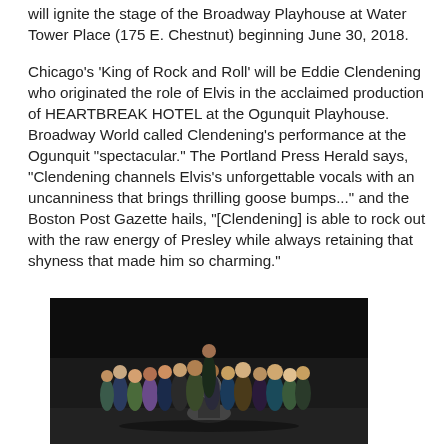will ignite the stage of the Broadway Playhouse at Water Tower Place (175 E. Chestnut) beginning June 30, 2018.
Chicago's 'King of Rock and Roll' will be Eddie Clendening who originated the role of Elvis in the acclaimed production of HEARTBREAK HOTEL at the Ogunquit Playhouse. Broadway World called Clendening's performance at the Ogunquit "spectacular." The Portland Press Herald says, "Clendening channels Elvis's unforgettable vocals with an uncanniness that brings thrilling goose bumps..." and the Boston Post Gazette hails, "[Clendening] is able to rock out with the raw energy of Presley while always retaining that shyness that made him so charming."
[Figure (photo): Group photo of cast members standing together on a dark stage, with a drum kit visible in the center background. Approximately 15-20 people of diverse backgrounds posing together.]